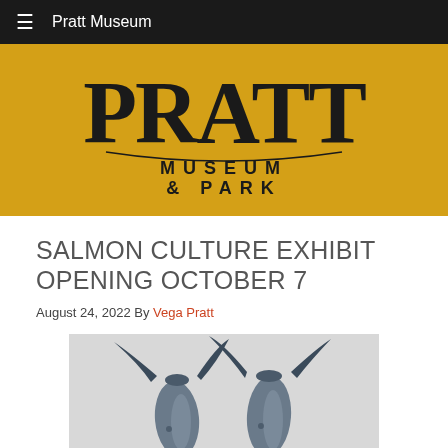≡  Pratt Museum
[Figure (logo): Pratt Museum & Park logo — large serif 'PRATT' text above 'MUSEUM & PARK' in smaller spaced capitals, on a golden yellow background]
SALMON CULTURE EXHIBIT OPENING OCTOBER 7
August 24, 2022 By Vega Pratt
[Figure (photo): Two fish tails pointing upward against a light gray background, showing the tail fins and lower bodies of two salmon or similar fish]